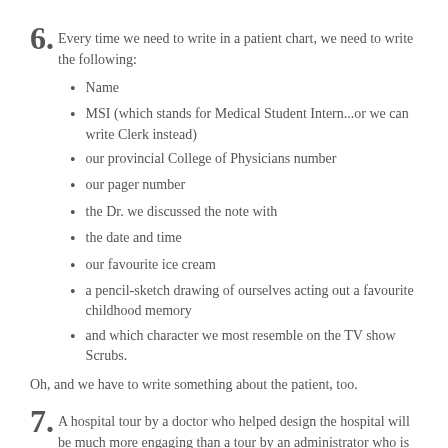6. Every time we need to write in a patient chart, we need to write the following:
Name
MSI (which stands for Medical Student Intern...or we can write Clerk instead)
our provincial College of Physicians number
our pager number
the Dr. we discussed the note with
the date and time
our favourite ice cream
a pencil-sketch drawing of ourselves acting out a favourite childhood memory
and which character we most resemble on the TV show Scrubs.
Oh, and we have to write something about the patient, too.
7. A hospital tour by a doctor who helped design the hospital will be much more engaging than a tour by an administrator who is reading the signs on the walls.